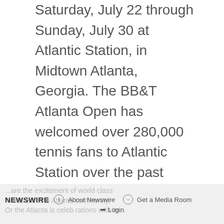Saturday, July 22 through Sunday, July 30 at Atlantic Station, in Midtown Atlanta, Georgia. The BB&T Atlanta Open has welcomed over 280,000 tennis fans to Atlantic Station over the past seven years, establishing itself as one of the top ATP Tour tennis events in the U.S. The nine-day event is a mix of young upstarts and former and current ATP World Tour top-20 players. This year, the BB&T Atlanta Open brings women's championship-level tennis to the Atlanta event with the Venus Williams vs. Genie Bouchard Women's Exhibition Match.
NEWSWIRE | About Newswire | Get a Media Room | Login | ...are the excitement of world class tennis with the Atlanta community,